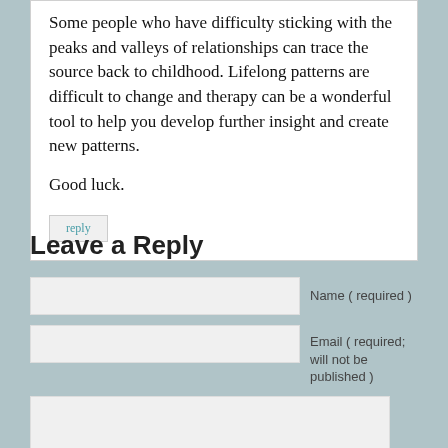Some people who have difficulty sticking with the peaks and valleys of relationships can trace the source back to childhood. Lifelong patterns are difficult to change and therapy can be a wonderful tool to help you develop further insight and create new patterns.
Good luck.
reply
Leave a Reply
Name ( required )
Email ( required; will not be published )